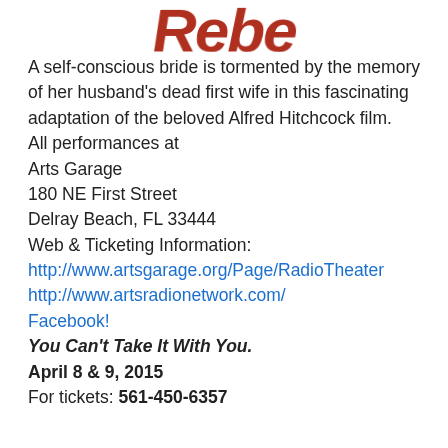[Figure (logo): Partial logo text in red/brown bold italic font, showing 'Rebe' or similar (cropped at top)]
A self-conscious bride is tormented by the memory of her husband's dead first wife in this fascinating adaptation of the beloved Alfred Hitchcock film.
All performances at
Arts Garage
180 NE First Street
Delray Beach, FL 33444
Web & Ticketing Information:
http://www.artsgarage.org/Page/RadioTheater
http://www.artsradionetwork.com/
Facebook!
You Can't Take It With You.
April 8 & 9, 2015
For tickets: 561-450-6357